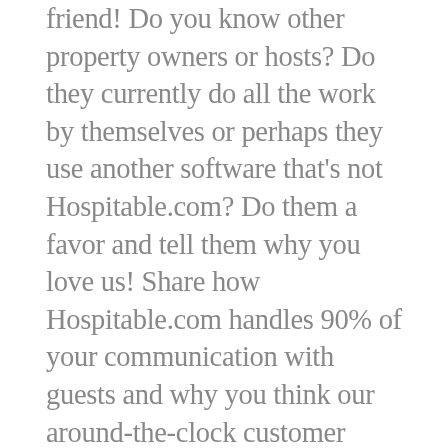friend! Do you know other property owners or hosts? Do they currently do all the work by themselves or perhaps they use another software that's not Hospitable.com? Do them a favor and tell them why you love us! Share how Hospitable.com handles 90% of your communication with guests and why you think our around-the-clock customer support is a life-saver! Do you love how simple and easy it is to use Hospitable.com? Tell that to your friend! Help us spread the word so we can help more hosts like you have a stress-free hosting experience. Learn more about our referral program here!